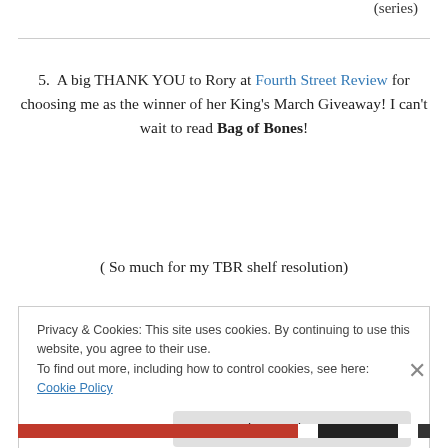(series)
5.  A big THANK YOU to Rory at Fourth Street Review for choosing me as the winner of her King's March Giveaway! I can't wait to read Bag of Bones!
( So much for my TBR shelf resolution)
Privacy & Cookies: This site uses cookies. By continuing to use this website, you agree to their use.
To find out more, including how to control cookies, see here: Cookie Policy
Close and accept